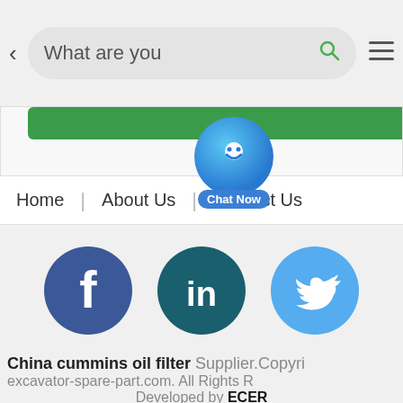[Figure (screenshot): Mobile browser top search bar with back arrow, search input showing 'What are you', green search icon, and hamburger menu icon]
[Figure (screenshot): Green navigation button bar partially visible]
[Figure (screenshot): Chat Now floating button - blue circle with smiley face icon and 'Chat Now' label]
Home | About Us | Contact Us
[Figure (screenshot): Social media icons: Facebook (dark blue), LinkedIn (dark teal), Twitter (light blue)]
China cummins oil filter Supplier.Copyright excavator-spare-part.com. All Rights Reserved. Developed by ECER